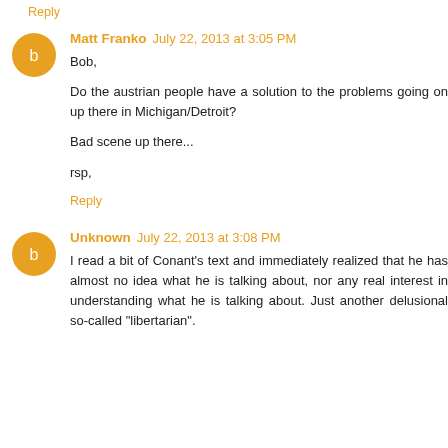Reply
Matt Franko July 22, 2013 at 3:05 PM
Bob,

Do the austrian people have a solution to the problems going on up there in Michigan/Detroit?

Bad scene up there...

rsp,
Reply
Unknown July 22, 2013 at 3:08 PM
I read a bit of Conant's text and immediately realized that he has almost no idea what he is talking about, nor any real interest in understanding what he is talking about. Just another delusional so-called "libertarian".